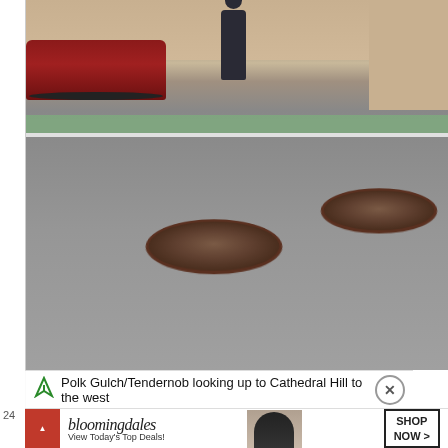[Figure (photo): Street-level photo of Polk Gulch/Tendernob neighborhood in San Francisco, looking west toward Cathedral Hill. Shows a wide asphalt road with two visible manhole covers, a parked red car on the left, a pedestrian on the sidewalk, green-painted bike lane, and commercial buildings in the background.]
Polk Gulch/Tendernob looking up to Cathedral Hill to the west
[Figure (photo): Advertisement banner for Bloomingdale's showing a woman wearing a wide-brim hat. Text reads: bloomingdales, View Today's Top Deals!, SHOP NOW >]